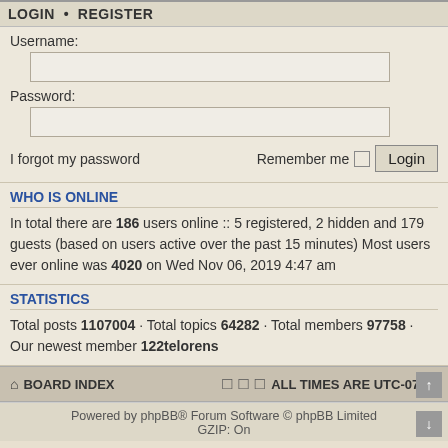LOGIN • REGISTER
Username:
Password:
I forgot my password
Remember me  Login
WHO IS ONLINE
In total there are 186 users online :: 5 registered, 2 hidden and 179 guests (based on users active over the past 15 minutes) Most users ever online was 4020 on Wed Nov 06, 2019 4:47 am
STATISTICS
Total posts 1107004 • Total topics 64282 • Total members 97758 • Our newest member 122telorens
BOARD INDEX  ALL TIMES ARE UTC-07:00
Powered by phpBB® Forum Software © phpBB Limited GZIP: On